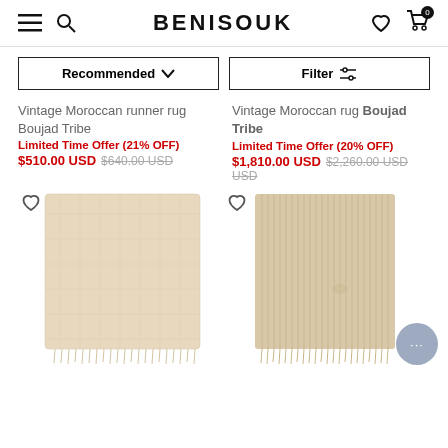BENISOUK
Recommended ∨
Filter ≡
Vintage Moroccan runner rug
Boujad Tribe
Limited Time Offer (21% OFF)
$510.00 USD $640.00 USD
Vintage Moroccan rug Boujad Tribe
Limited Time Offer (20% OFF)
$1,810.00 USD $2,260.00 USD
[Figure (photo): Cream/beige vintage Moroccan rug with fringed edges, left product]
[Figure (photo): Beige/tan vintage Moroccan rug with ribbed texture and fringed edges, right product]